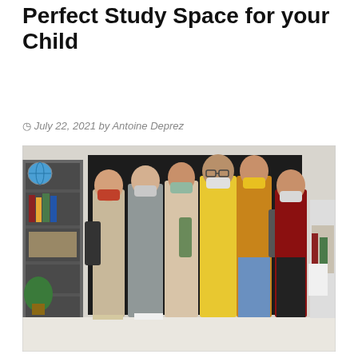Perfect Study Space for your Child
July 22, 2021 by Antoine Deprez
[Figure (photo): Group photo of students and a teacher wearing face masks, standing in front of a chalkboard in a classroom. Several children with backpacks, mixed ages, and an adult male teacher in a yellow shirt at the back center. Classroom shelving with books, globe, and a plant visible on the left. White floor.]